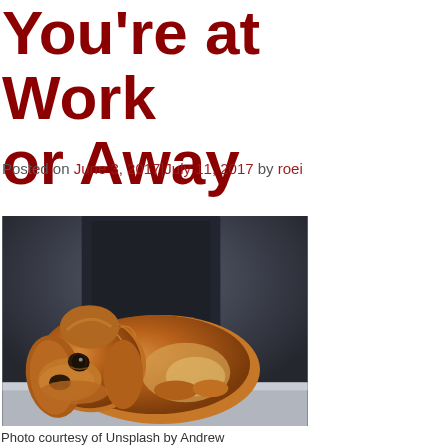You're at Work or Away
Posted on June 3, 2017|July 11, 2017 by roei
[Figure (photo): A sad-looking golden Cavalier King Charles Spaniel dog resting its chin on what appears to be a concrete ledge, with a blurred dark background.]
Photo courtesy of Unsplash by Andrew